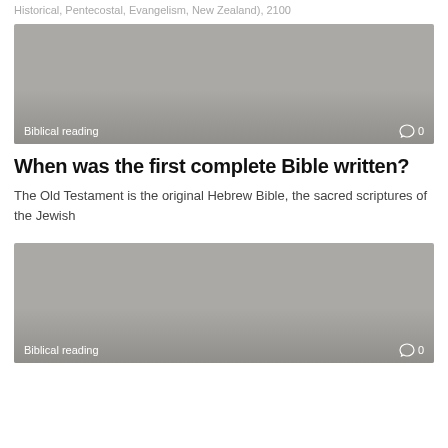Historical, Pentecostal, Evangelism, New Zealand), 2100
[Figure (photo): Gray placeholder image card with 'Biblical reading' tag label and comment count '0' at bottom]
When was the first complete Bible written?
The Old Testament is the original Hebrew Bible, the sacred scriptures of the Jewish
[Figure (photo): Gray placeholder image card with 'Biblical reading' tag label and comment count '0' at bottom, second card]